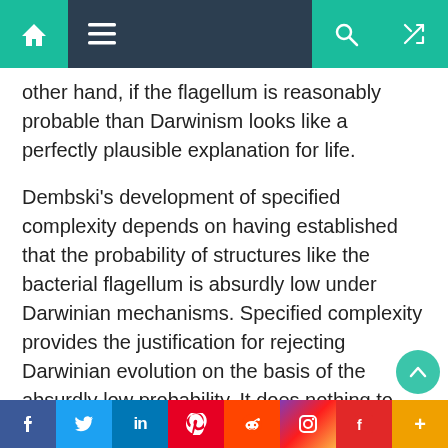Navigation bar with home, menu, search, and shuffle icons
other hand, if the flagellum is reasonably probable than Darwinism looks like a perfectly plausible explanation for life.
Dembski’s development of specified complexity depends on having established that the probability of structures like the bacterial flagellum is absurdly low under Darwinian mechanisms. Specified complexity provides the justification for rejecting Darwinian evolution on the basis of the absurdly low probability. It does nothing to help establish the low probability. Anyone arguing the Darwinian evolution has a low probability of success because of CSI has put the cart before the horse. You have to show that the probability of the bacterial
f  •  Twitter  •  in  •  Pinterest  •  Reddit  •  Instagram  •  Flipboard  •  +